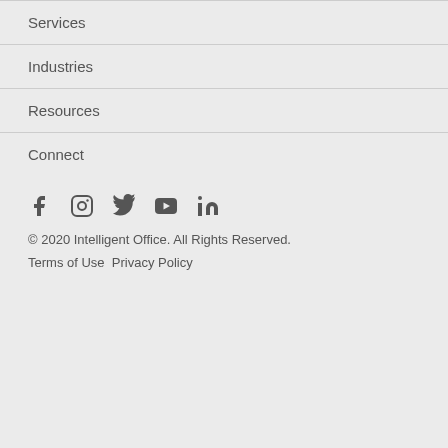Services
Industries
Resources
Connect
[Figure (infographic): Social media icons: Facebook, Instagram, Twitter, YouTube, LinkedIn]
© 2020 Intelligent Office. All Rights Reserved.
Terms of Use  Privacy Policy